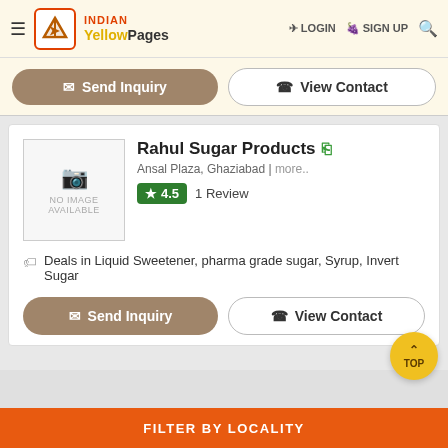INDIAN YellowPages | LOGIN | SIGN UP
Send Inquiry | View Contact
Rahul Sugar Products
Ansal Plaza, Ghaziabad | more..
4.5  1 Review
Deals in Liquid Sweetener, pharma grade sugar, Syrup, Invert Sugar
Send Inquiry | View Contact
FILTER BY LOCALITY